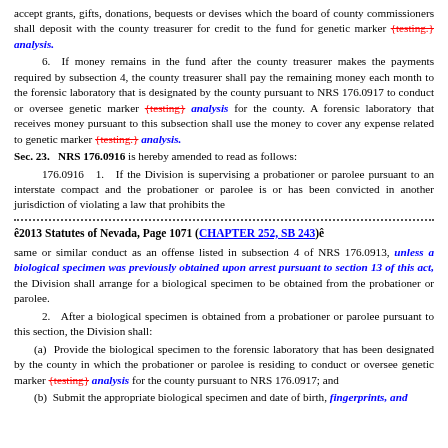accept grants, gifts, donations, bequests or devises which the board of county commissioners shall deposit with the county treasurer for credit to the fund for genetic marker {testing.} analysis.
6. If money remains in the fund after the county treasurer makes the payments required by subsection 4, the county treasurer shall pay the remaining money each month to the forensic laboratory that is designated by the county pursuant to NRS 176.0917 to conduct or oversee genetic marker {testing} analysis for the county. A forensic laboratory that receives money pursuant to this subsection shall use the money to cover any expense related to genetic marker {testing.} analysis.
Sec. 23. NRS 176.0916 is hereby amended to read as follows:
176.0916 1. If the Division is supervising a probationer or parolee pursuant to an interstate compact and the probationer or parolee is or has been convicted in another jurisdiction of violating a law that prohibits the
ê2013 Statutes of Nevada, Page 1071 (CHAPTER 252, SB 243)ê
same or similar conduct as an offense listed in subsection 4 of NRS 176.0913, unless a biological specimen was previously obtained upon arrest pursuant to section 13 of this act, the Division shall arrange for a biological specimen to be obtained from the probationer or parolee.
2. After a biological specimen is obtained from a probationer or parolee pursuant to this section, the Division shall:
(a) Provide the biological specimen to the forensic laboratory that has been designated by the county in which the probationer or parolee is residing to conduct or oversee genetic marker {testing} analysis for the county pursuant to NRS 176.0917; and
(b) Submit the appropriate biological specimen and date of birth, fingerprints, and